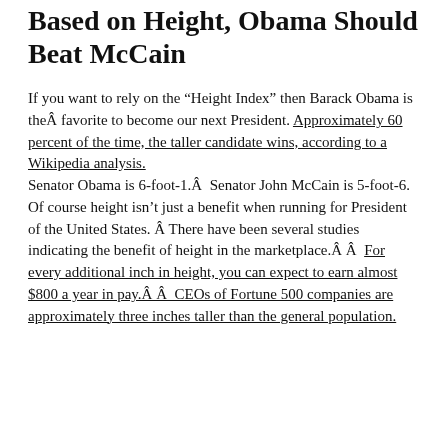Based on Height, Obama Should Beat McCain
If you want to rely on the “Height Index” then Barack Obama is theÂ favorite to become our next President. Approximately 60 percent of the time, the taller candidate wins, according to a Wikipedia analysis.
Senator Obama is 6-foot-1.Â  Senator John McCain is 5-foot-6.
Of course height isn’t just a benefit when running for President of the United States. Â There have been several studies indicating the benefit of height in the marketplace.Â Â  For every additional inch in height, you can expect to earn almost $800 a year in pay.Â Â  CEOs of Fortune 500 companies are approximately three inches taller than the general population.